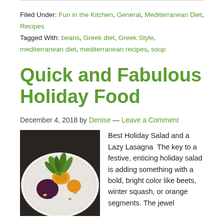Filed Under: Fun in the Kitchen, General, Mediterranean Diet, Recipes
Tagged With: beans, Greek diet, Greek Style, mediterranean diet, mediterranean recipes, soup
Quick and Fabulous Holiday Food
December 4, 2018 by Denise — Leave a Comment
[Figure (photo): A plate with a colorful holiday salad featuring arugula, orange segments, beets, and goat cheese with nuts]
Best Holiday Salad and a Lazy Lasagna  The key to a festive, enticing holiday salad is adding something with a bold, bright color like beets, winter squash, or orange segments. The jewel